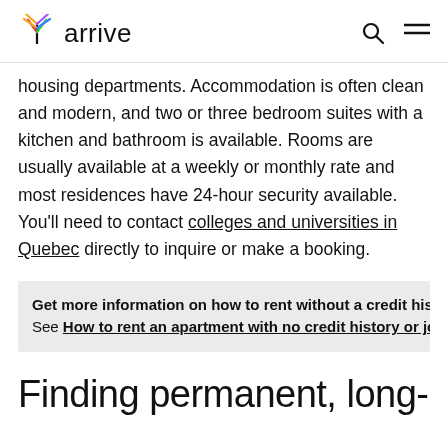arrive
housing departments. Accommodation is often clean and modern, and two or three bedroom suites with a kitchen and bathroom is available. Rooms are usually available at a weekly or monthly rate and most residences have 24-hour security available. You'll need to contact colleges and universities in Quebec directly to inquire or make a booking.
Get more information on how to rent without a credit history. See How to rent an apartment with no credit history or job...
Finding permanent, long-